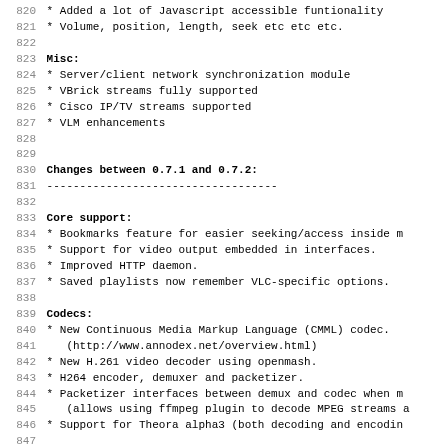820  * Added a lot of Javascript accessible funtionality
821  * Volume, position, length, seek etc etc etc.
822
823 Misc:
824  * Server/client network synchronization module
825  * VBrick streams fully supported
826  * Cisco IP/TV streams supported
827  * VLM enhancements
828
829
830 Changes between 0.7.1 and 0.7.2:
831 -----------------------------------
832
833 Core support:
834  * Bookmarks feature for easier seeking/access inside m
835  * Support for video output embedded in interfaces.
836  * Improved HTTP daemon.
837  * Saved playlists now remember VLC-specific options.
838
839 Codecs:
840  * New Continuous Media Markup Language (CMML) codec.
841    (http://www.annodex.net/overview.html)
842  * New H.261 video decoder using openmash.
843  * H264 encoder, demuxer and packetizer.
844  * Packetizer interfaces between demux and codec when m
845    (allows using ffmpeg plugin to decode MPEG streams a
846  * Support for Theora alpha3 (both decoding and encodin
847
848 Input:
849  * --start-time <sec> and --stop-time <sec> to start an
850    file at the specified amount of seconds. Only works
851    fileformats (avi, mov, mkv, mp4.)